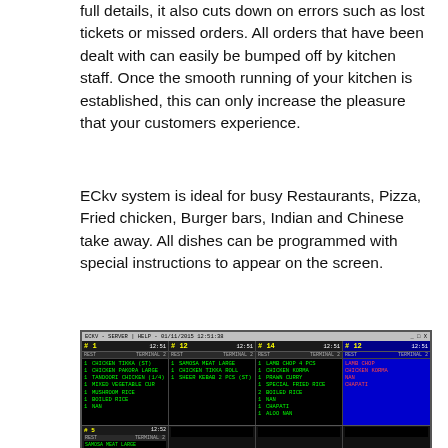full details, it also cuts down on errors such as lost tickets or missed orders. All orders that have been dealt with can easily be bumped off by kitchen staff. Once the smooth running of your kitchen is established, this can only increase the pleasure that your customers experience.
ECkv system is ideal for busy Restaurants, Pizza, Fried chicken, Burger bars, Indian and Chinese take away. All dishes can be programmed with special instructions to appear on the screen.
[Figure (screenshot): Kitchen Display System (KDS) screen showing 4 columns of order tickets. Column 1: Ticket #1 12:51, REST TERMINAL 2, items: CHICKEN TIKKA (ST), CHICKEN PAKORA LARGE, TANDOORI CHICKEN (1/4), MIXED VEGETABLE CUR, MUSHROOM RICE, BOILED RICE, NAN. Column 2: Ticket #12 12:51, REST TERMINAL 2, items: SAMOSA MEAT LARGE, CHICKEN TIKKA ROLL, SHEER KEBAB 2 PCS (ST). Column 3: Ticket #14 12:51, REST TERMINAL 2, items: LAMB CHOP 4 PCS, CHICKEN KORMA, PRAWN CURRY, SPECIAL FRIED RICE, 2 BOILED RICE, NAN, CHAPATI, ALOO NAN. Column 4: Ticket #12 12:51, REST TERMINAL 2, blue background with red text items. Bottom row shows Ticket #5 12:52, REST TERMINAL 2 with SAMOSA MEAT LARGE.]